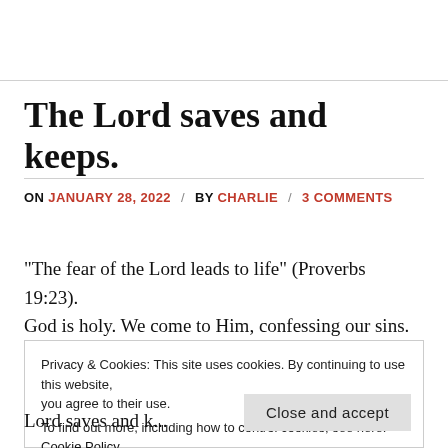The Lord saves and keeps.
ON JANUARY 28, 2022 / BY CHARLIE / 3 COMMENTS
"The fear of the Lord leads to life" (Proverbs 19:23). God is holy. We come to Him, confessing our sins. He
Privacy & Cookies: This site uses cookies. By continuing to use this website, you agree to their use. To find out more, including how to control cookies, see here: Cookie Policy
Lord saves and k...